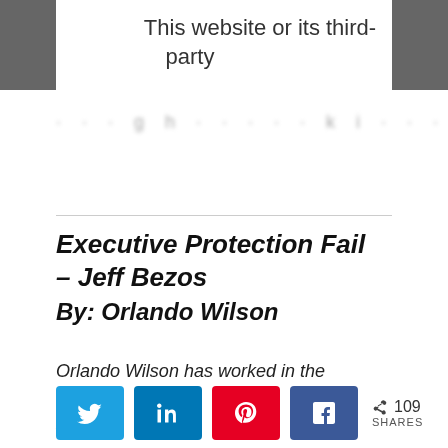This website or its third-party
· · · · g h · · · · · · · k i · · · · · · · · · · h i · · ·
Executive Protection Fail – Jeff Bezos
By: Orlando Wilson
Orlando Wilson has worked in the security industry internationally for over 25 years. He has become
[Figure (infographic): Social share buttons: Twitter, LinkedIn, Pinterest, Facebook, and a share count showing 109 SHARES]